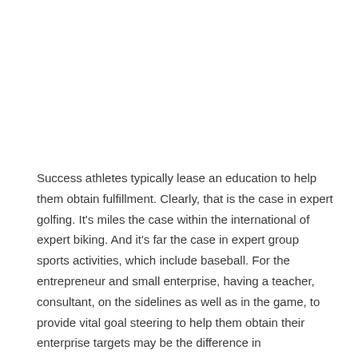Success athletes typically lease an education to help them obtain fulfillment. Clearly, that is the case in expert golfing. It's miles the case within the international of expert biking. And it's far the case in expert group sports activities, which include baseball. For the entrepreneur and small enterprise, having a teacher, consultant, on the sidelines as well as in the game, to provide vital goal steering to help them obtain their enterprise targets may be the difference in accomplishing actual fulfillment. As a small business enterprise, you want to be within the category of a 'small business boom' organization, placed for IPO, acquisition, merger, or developing